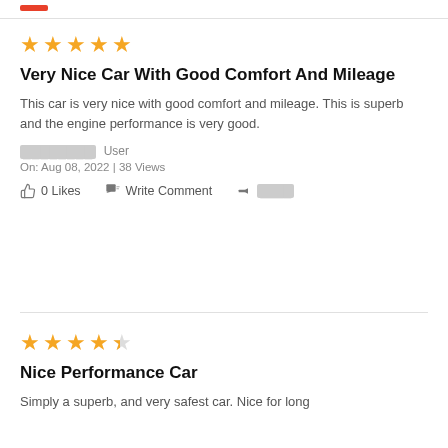★★★★★
Very Nice Car With Good Comfort And Mileage
This car is very nice with good comfort and mileage. This is superb and the engine performance is very good.
████████ User
On: Aug 08, 2022 | 38 Views
0 Likes   Write Comment   ████
★★★★½
Nice Performance Car
Simply a superb, and very safest car. Nice for long